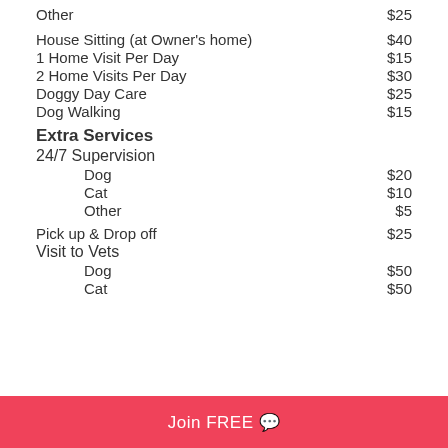Other  $25
House Sitting (at Owner's home)  $40
1 Home Visit Per Day  $15
2 Home Visits Per Day  $30
Doggy Day Care  $25
Dog Walking  $15
Extra Services
24/7 Supervision
Dog  $20
Cat  $10
Other  $5
Pick up & Drop off  $25
Visit to Vets
Dog  $50
Cat  $50
Join FREE 💬